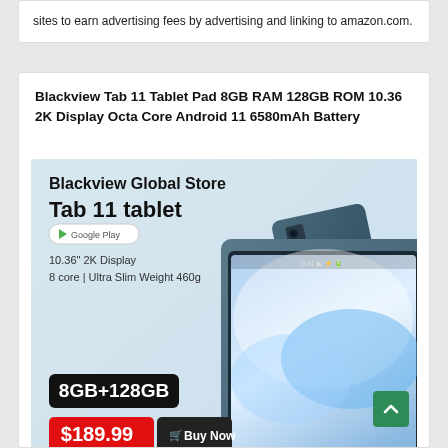sites to earn advertising fees by advertising and linking to amazon.com.
Blackview Tab 11 Tablet Pad 8GB RAM 128GB ROM 10.36 2K Display Octa Core Android 11 6580mAh Battery
[Figure (photo): Product advertisement image for Blackview Tab 11 tablet showing the tablet from front and back, with text: Blackview Global Store, Tab 11 tablet, Google Play badge, 10.36" 2K Display, 8 core | Ultra Slim Weight 460g, 8GB+128GB, $189.99 Buy Now, Global Version, WORLD PREMIERE]